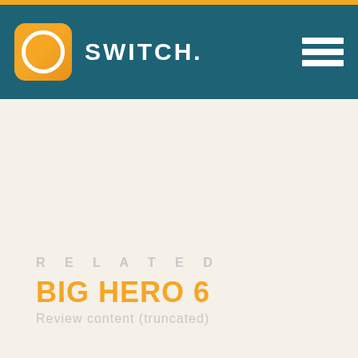SWITCH.
RELATED
BIG HERO 6
Review content (truncated)